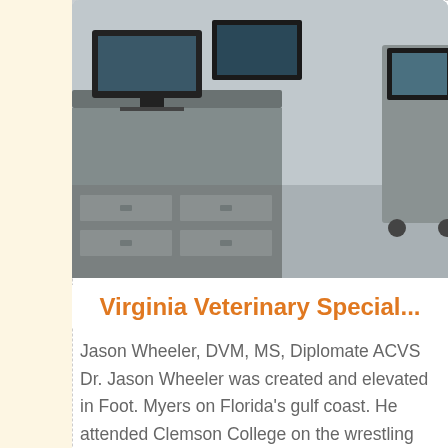[Figure (photo): Veterinary surgery or examination room with medical equipment, monitors, and anesthesia machines on carts]
Virginia Veterinary Special...
Jason Wheeler, DVM, MS, Diplomate ACVS Dr. Jason Wheeler was created and elevated in Foot. Myers on Florida's gulf coast. He attended Clemson College on the wrestling scholarship...
Read More
nal Hospi...
s what we are...
505-892-441
High D
We at High D... important you... for rely upon e... healthy and h...
[Figure (photo): Veterinarian with stethoscope examining a brown dog (dachshund), wearing white coat and green scrubs with green bead necklace]
[Figure (photo): Large residential house or building with trees in background]